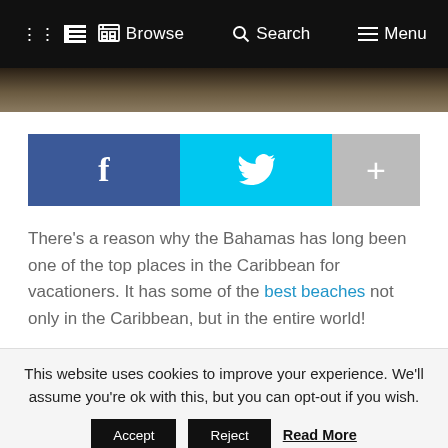Browse   Search   Menu
[Figure (photo): Beach sand photo strip]
[Figure (infographic): Social share buttons: Facebook (f), Twitter (bird icon), Plus (+)]
There's a reason why the Bahamas has long been one of the top places in the Caribbean for vacationers. It has some of the best beaches not only in the Caribbean, but in the entire world!
This website uses cookies to improve your experience. We'll assume you're ok with this, but you can opt-out if you wish. Accept  Reject  Read More